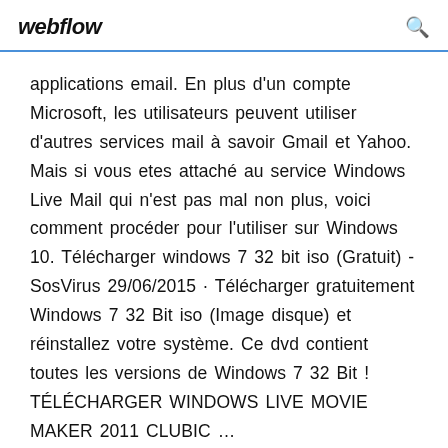webflow
applications email. En plus d'un compte Microsoft, les utilisateurs peuvent utiliser d'autres services mail à savoir Gmail et Yahoo. Mais si vous etes attaché au service Windows Live Mail qui n'est pas mal non plus, voici comment procéder pour l'utiliser sur Windows 10. Télécharger windows 7 32 bit iso (Gratuit) - SosVirus 29/06/2015 · Télécharger gratuitement Windows 7 32 Bit iso (Image disque) et réinstallez votre système. Ce dvd contient toutes les versions de Windows 7 32 Bit ! TÉLÉCHARGER WINDOWS LIVE MOVIE MAKER 2011 CLUBIC …